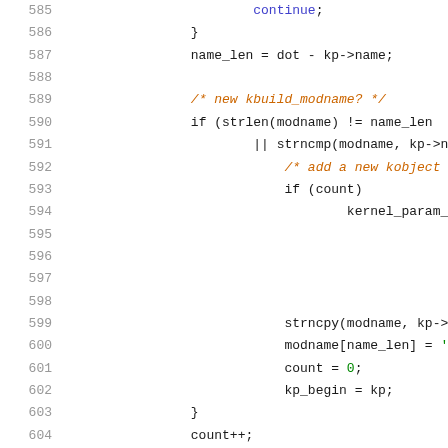[Figure (screenshot): Source code listing showing lines 585 to 605 of a C program with syntax highlighting. Contains code for kernel module parameter handling including continue statement, name_len calculation, kbuild_modname check, kobject creation, kernel_param_sys call, strncpy, modname assignment, count reset, kp_begin assignment, and count increment.]